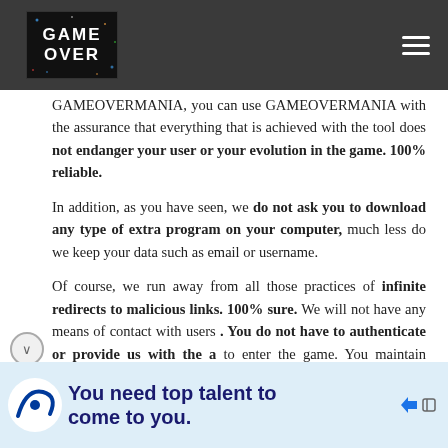GAME OVER logo and navigation
GAMEOVERMANIA, you can use GAMEOVERMANIA with the assurance that everything that is achieved with the tool does not endanger your user or your evolution in the game. 100% reliable.
In addition, as you have seen, we do not ask you to download any type of extra program on your computer, much less do we keep your data such as email or username.
Of course, we run away from all those practices of infinite redirects to malicious links. 100% sure. We will not have any means of contact with users . You do not have to authenticate or provide us with the da to enter the game. You maintain control of
[Figure (infographic): Indeed advertisement banner: 'You need top talent to come to you.' with Indeed logo]